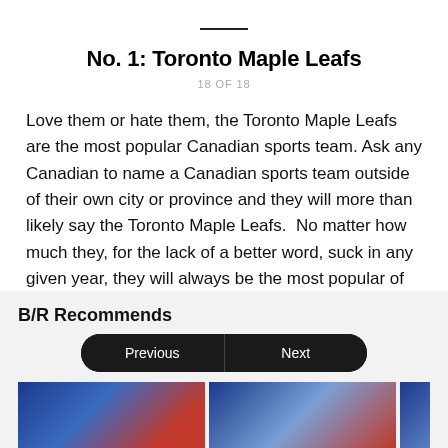No. 1: Toronto Maple Leafs
18 OF 18
Love them or hate them, the Toronto Maple Leafs are the most popular Canadian sports team. Ask any Canadian to name a Canadian sports team outside of their own city or province and they will more than likely say the Toronto Maple Leafs.  No matter how much they, for the lack of a better word, suck in any given year, they will always be the most popular of all the Canadian sports teams.
B/R Recommends
[Figure (photo): Navigation buttons (Previous / Next) and thumbnail images of sports scenes]
[Figure (photo): Thumbnail image of hockey/sports players in blue jerseys on the left]
[Figure (photo): Thumbnail image of hockey/sports players in blue and red jerseys on the right]